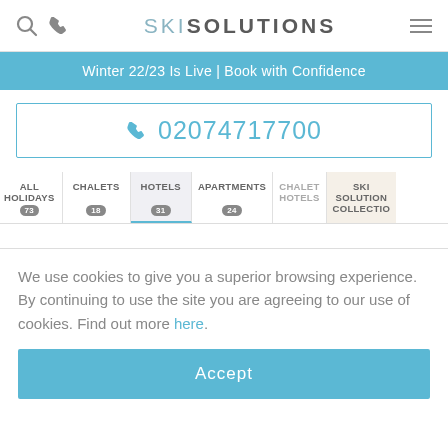SKI SOLUTIONS
Winter 22/23 Is Live | Book with Confidence
02074717700
ALL HOLIDAYS 73
CHALETS 18
HOTELS 31
APARTMENTS 24
CHALET HOTELS
SKI SOLUTIONS COLLECTION
We use cookies to give you a superior browsing experience. By continuing to use the site you are agreeing to our use of cookies. Find out more here.
Accept